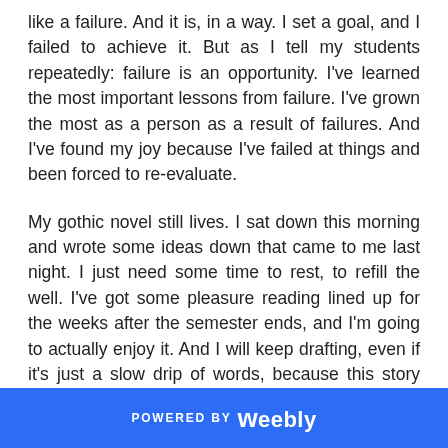like a failure. And it is, in a way. I set a goal, and I failed to achieve it. But as I tell my students repeatedly: failure is an opportunity. I've learned the most important lessons from failure. I've grown the most as a person as a result of failures. And I've found my joy because I've failed at things and been forced to re-evaluate.
My gothic novel still lives. I sat down this morning and wrote some ideas down that came to me last night. I just need some time to rest, to refill the well. I've got some pleasure reading lined up for the weeks after the semester ends, and I'm going to actually enjoy it. And I will keep drafting, even if it's just a slow drip of words, because this story wants to see the light of day. And if I can't meet an arbitrary deadline, so be it. It's not all-or-nothing. This book won't join the corpses of other
POWERED BY weebly